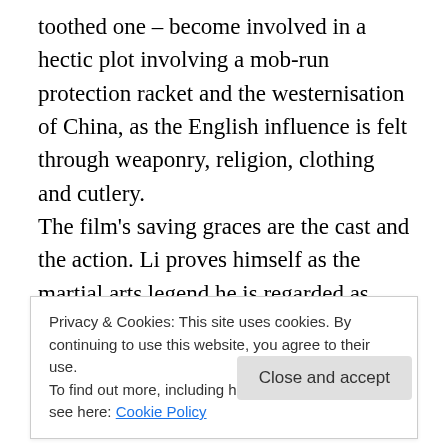toothed one – become involved in a hectic plot involving a mob-run protection racket and the westernisation of China, as the English influence is felt through weaponry, religion, clothing and cutlery. The film's saving graces are the cast and the action. Li proves himself as the martial arts legend he is regarded as, and the various fighting scenes are, mostly, memorable and entertaining. One near the end, a one-on-one fought almost entirely on long, weak ladders, is particularly good, and has a nice payoff too. The moment with Li and the bullet took it a bit far for me, as did the occasional uses of wire-fu to allow characters to jump an
Privacy & Cookies: This site uses cookies. By continuing to use this website, you agree to their use. To find out more, including how to control cookies, see here: Cookie Policy
Close and accept
There is far more comedy here than I was expecting too, on an